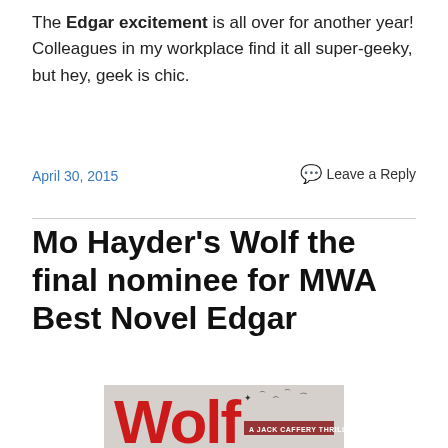The Edgar excitement is all over for another year! Colleagues in my workplace find it all super-geeky, but hey, geek is chic.
April 30, 2015
Leave a Reply
Mo Hayder’s Wolf the final nominee for MWA Best Novel Edgar
[Figure (photo): Book cover of Wolf by Mo Hayder, a Jack Caffery Thriller, showing the title in large red letters with birds flying, and a quote from Chicago Tribune.]